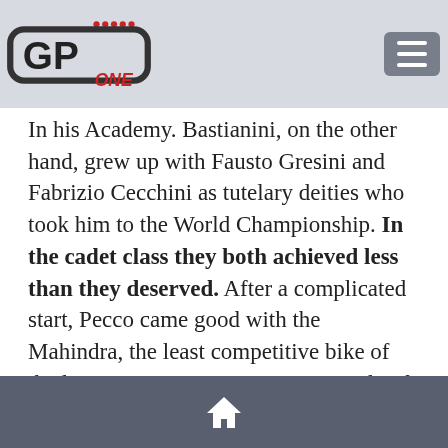GP One logo and navigation header
In his Academy. Bastianini, on the other hand, grew up with Fausto Gresini and Fabrizio Cecchini as tutelary deities who took him to the World Championship. In the cadet class they both achieved less than they deserved. After a complicated start, Pecco came good with the Mahindra, the least competitive bike of the lot, even managing to win a couple of races. While Enea came close to the title in 2016, but he always missed the big target.
Home